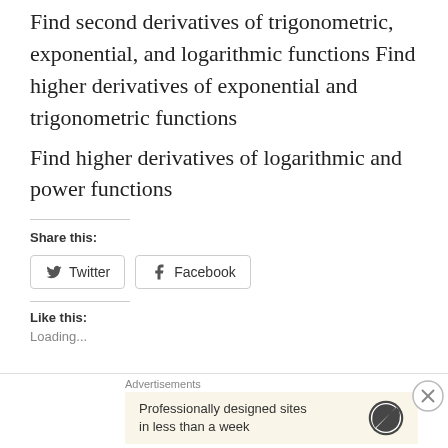Find second derivatives of trigonometric, exponential, and logarithmic functions Find higher derivatives of exponential and trigonometric functions
Find higher derivatives of logarithmic and power functions
Share this:
[Figure (other): Twitter and Facebook share buttons]
Like this:
Advertisements
Professionally designed sites in less than a week